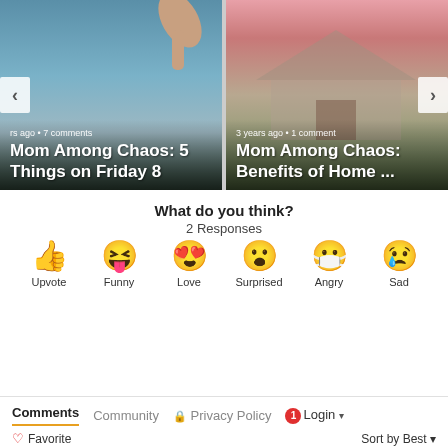[Figure (screenshot): Carousel slide showing 'Mom Among Chaos: 5 Things on Friday 8' with aerial city/water background, left slide]
[Figure (screenshot): Carousel slide showing 'Mom Among Chaos: Benefits of Home ...' with house exterior background, right slide]
What do you think?
2 Responses
[Figure (infographic): Six emoji reaction buttons: Upvote (thumbs up), Funny (laughing face), Love (heart eyes), Surprised (shocked face), Angry (mask/crying face), Sad (sad with tear)]
Comments  Community  Privacy Policy  Login
Favorite  Sort by Best